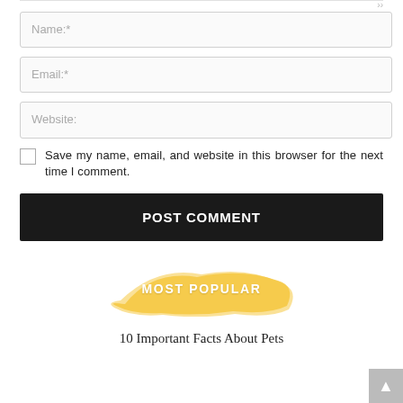Name:*
Email:*
Website:
Save my name, email, and website in this browser for the next time I comment.
POST COMMENT
MOST POPULAR
10 Important Facts About Pets